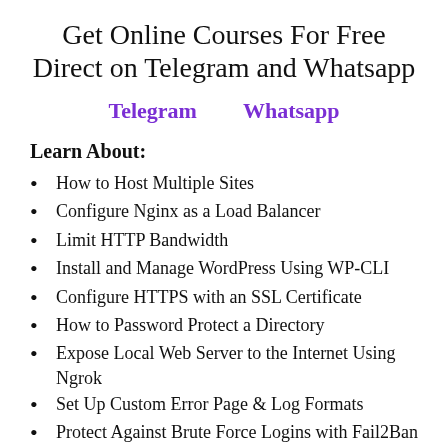Get Online Courses For Free Direct on Telegram and Whatsapp
Telegram    Whatsapp
Learn About:
How to Host Multiple Sites
Configure Nginx as a Load Balancer
Limit HTTP Bandwidth
Install and Manage WordPress Using WP-CLI
Configure HTTPS with an SSL Certificate
How to Password Protect a Directory
Expose Local Web Server to the Internet Using Ngrok
Set Up Custom Error Page & Log Formats
Protect Against Brute Force Logins with Fail2Ban